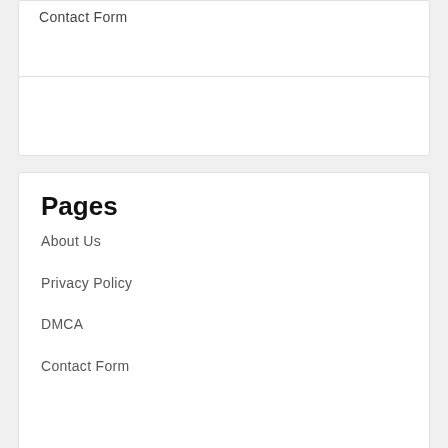Contact Form
Pages
About Us
Privacy Policy
DMCA
Contact Form